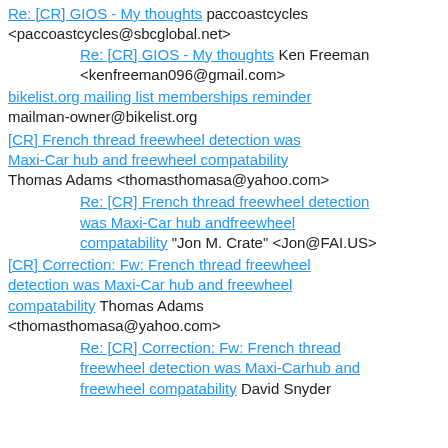Re: [CR] GIOS - My thoughts paccoastcycles <paccoastcycles@sbcglobal.net>
Re: [CR] GIOS - My thoughts Ken Freeman <kenfreeman096@gmail.com>
bikelist.org mailing list memberships reminder mailman-owner@bikelist.org
[CR] French thread freewheel detection was Maxi-Car hub and freewheel compatability Thomas Adams <thomasthomasa@yahoo.com>
Re: [CR] French thread freewheel detection was Maxi-Car hub andfreewheel compatability "Jon M. Crate" <Jon@FAI.US>
[CR] Correction: Fw: French thread freewheel detection was Maxi-Car hub and freewheel compatability Thomas Adams <thomasthomasa@yahoo.com>
Re: [CR] Correction: Fw: French thread freewheel detection was Maxi-Carhub and freewheel compatability David Snyder